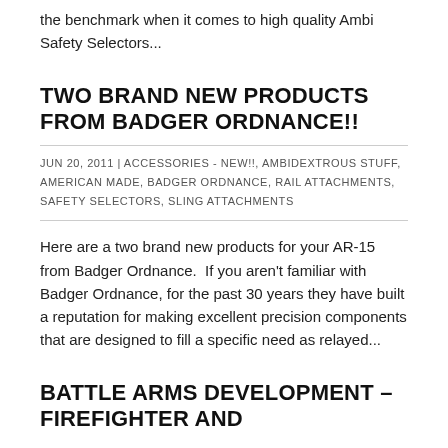the benchmark when it comes to high quality Ambi Safety Selectors...
TWO BRAND NEW PRODUCTS FROM BADGER ORDNANCE!!
JUN 20, 2011 | ACCESSORIES - NEW!!, AMBIDEXTROUS STUFF, AMERICAN MADE, BADGER ORDNANCE, RAIL ATTACHMENTS, SAFETY SELECTORS, SLING ATTACHMENTS
Here are a two brand new products for your AR-15 from Badger Ordnance.  If you aren't familiar with Badger Ordnance, for the past 30 years they have built a reputation for making excellent precision components that are designed to fill a specific need as relayed...
BATTLE ARMS DEVELOPMENT – FIREFIGHTER AND